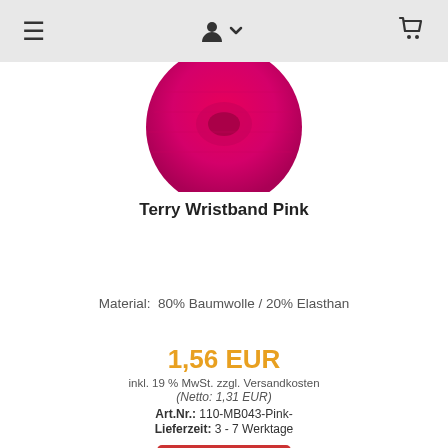≡  👤↓  🛒
[Figure (photo): Pink terry wristband product photo, cropped showing top portion of the wristband in hot pink color]
Terry Wristband Pink
Material:  80% Baumwolle / 20% Elasthan
1,56 EUR
inkl. 19 % MwSt. zzgl. Versandkosten
(Netto: 1,31 EUR)
Art.Nr.: 110-MB043-Pink-
Lieferzeit: 3 - 7 Werktage